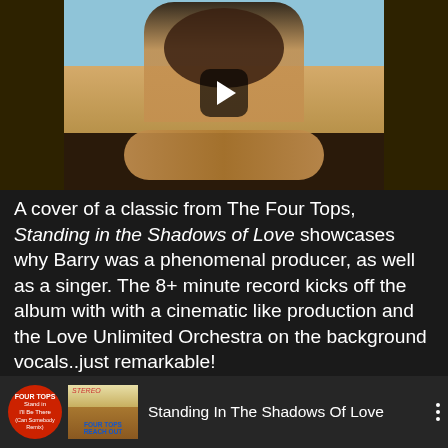[Figure (screenshot): Video thumbnail showing a man in a tan/camel jacket holding small figures in his hands, with a play button overlay. Dark brown/olive background flanking the center image.]
A cover of a classic from The Four Tops, Standing in the Shadows of Love showcases why Barry was a phenomenal producer, as well as a singer. The 8+ minute record kicks off the album with with a cinematic like production and the Love Unlimited Orchestra on the background vocals..just remarkable!
[Figure (screenshot): Music player bar showing Four Tops album art thumbnail, STEREO label, and song title 'Standing In The Shadows Of Love' with a three-dot menu icon.]